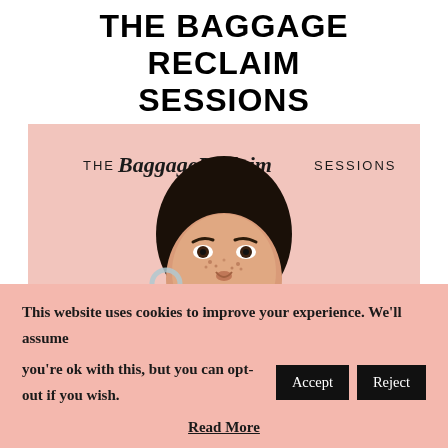THE BAGGAGE RECLAIM SESSIONS
[Figure (illustration): Podcast cover art for 'The Baggage Reclaim Sessions' showing an illustrated portrait of a Black woman with dark hair, freckles, red lips, and a hoop earring on a pink background. The show title is printed at the top of the cover.]
This website uses cookies to improve your experience. We'll assume you're ok with this, but you can opt-out if you wish. [Accept] [Reject]
Read More